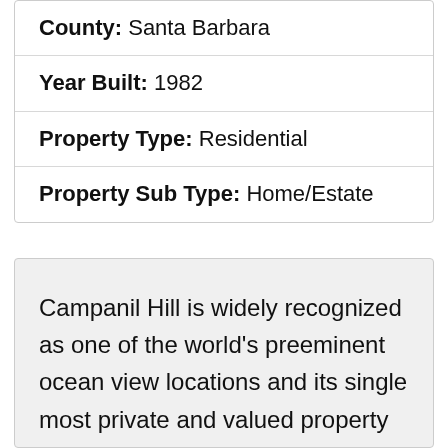| County: | Santa Barbara |
| Year Built: | 1982 |
| Property Type: | Residential |
| Property Sub Type: | Home/Estate |
Campanil Hill is widely recognized as one of the world's preeminent ocean view locations and its single most private and valued property is now available for purchase. Perched above the Santa Barbara coastal bluffs at the farthest end of